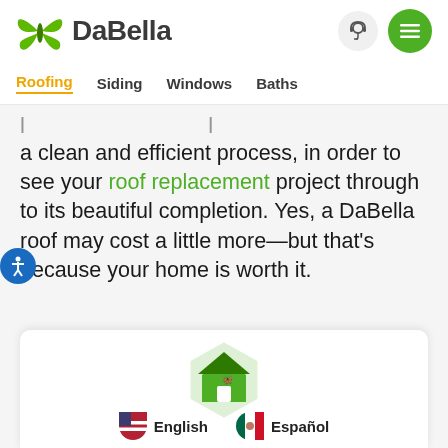DaBella
Roofing
Siding
Windows
Baths
a clean and efficient process, in order to see your roof replacement project through to its beautiful completion. Yes, a DaBella roof may cost a little more—but that's because your home is worth it.
[Figure (logo): DaBella house/butterfly logo icon in a hexagonal green badge, partially visible at bottom of page]
English
Español